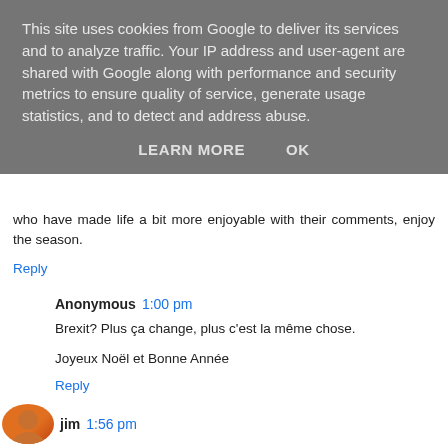This site uses cookies from Google to deliver its services and to analyze traffic. Your IP address and user-agent are shared with Google along with performance and security metrics to ensure quality of service, generate usage statistics, and to detect and address abuse.
LEARN MORE    OK
who have made life a bit more enjoyable with their comments, enjoy the season.
Reply
Anonymous  1:00 pm
Brexit? Plus ça change, plus c'est la même chose.

Joyeux Noël et Bonne Année
Reply
jim  1:56 pm